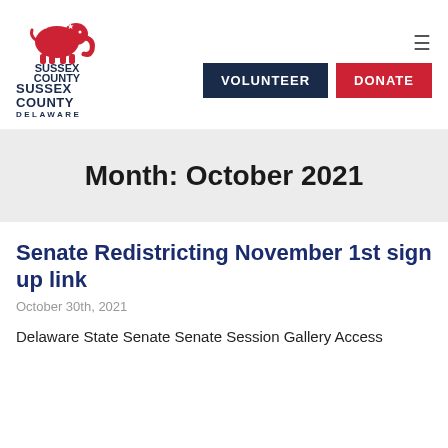[Figure (logo): Sussex County Delaware Republican Party logo with elephant and stars]
VOLUNTEER   DONATE
Month: October 2021
Senate Redistricting November 1st sign up link
October 30th, 2021
Delaware State Senate Senate Session Gallery Access